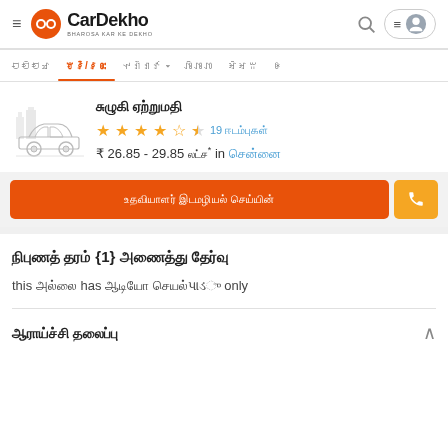CarDekho - BHAROSA KAR KE DEKHO
[Figure (screenshot): CarDekho website navigation bar with menu items in Indian script]
[Figure (illustration): Car silhouette outline illustration in gray]
[Car name in Indian script]
4.5 stars, 19 [reviews in Indian script]
₹ 26.85 - 29.85 [unit in Indian script]* in [city in Indian script]
[CTA button text in Indian script]
[Section title in Indian script] {1} [subtitle in Indian script]
this [word] has [text in Indian script] only
[Section title in Indian script]